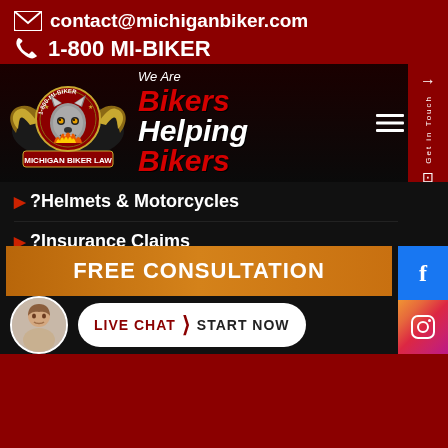contact@michiganbiker.com
1-800 MI-BIKER
[Figure (screenshot): Michigan Biker Law website screenshot showing logo with wolf graphic and '1-800-MI-BIKER' badge, tagline 'We Are Bikers Helping Bikers', navigation menu with items: ?Helmets & Motorcycles, ?Insurance Claims, ?What Do I Do After an accident?, Wrongful Death. Bottom shows FREE CONSULTATION bar and LIVE CHAT / START NOW button.]
?Helmets & Motorcycles
?Insurance Claims
?What Do I Do After an accident?
Wrongful Death
FREE CONSULTATION
LIVE CHAT  START NOW